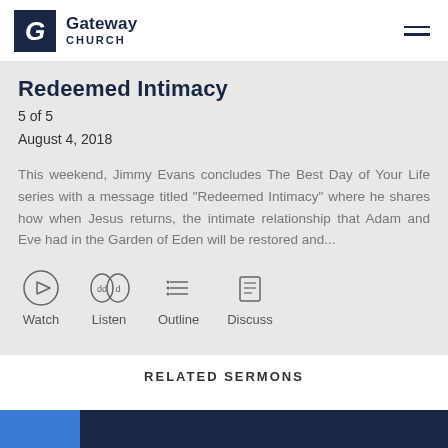Gateway Church
Redeemed Intimacy
5 of 5
August 4, 2018
This weekend, Jimmy Evans concludes The Best Day of Your Life series with a message titled “Redeemed Intimacy” where he shares how when Jesus returns, the intimate relationship that Adam and Eve had in the Garden of Eden will be restored and...
RELATED SERMONS